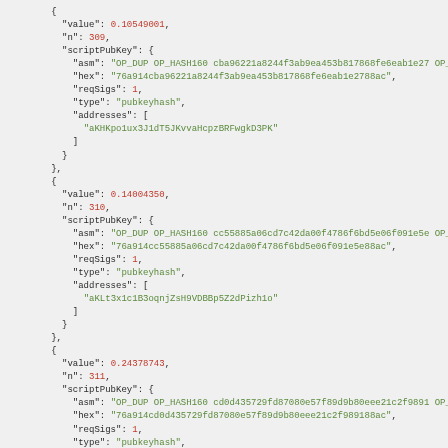JSON code block showing three transaction output objects with fields: value (0.10549001, 0.14004350, 0.24378743), n (309, 310, 311), scriptPubKey with asm, hex, reqSigs, type, and addresses fields.